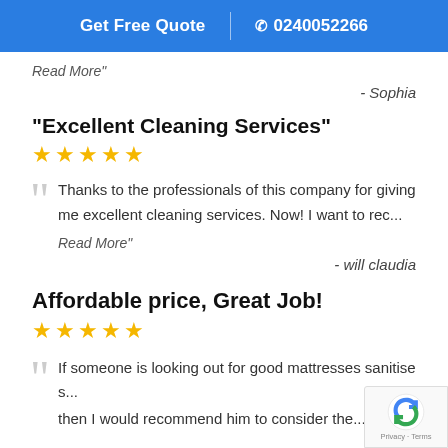Get Free Quote | ☎ 0240052266
Read More"
- Sophia
"Excellent Cleaning Services"
★★★★★
Thanks to the professionals of this company for giving me excellent cleaning services. Now! I want to rec...
Read More"
- will claudia
Affordable price, Great Job!
★★★★★
If someone is looking out for good mattresses sanitise s... then I would recommend him to consider the...